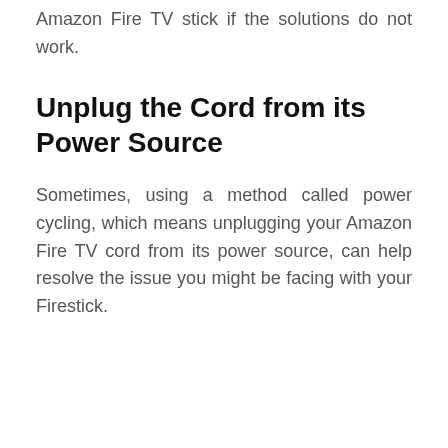Amazon Fire TV stick if the solutions do not work.
Unplug the Cord from its Power Source
Sometimes, using a method called power cycling, which means unplugging your Amazon Fire TV cord from its power source, can help resolve the issue you might be facing with your Firestick.